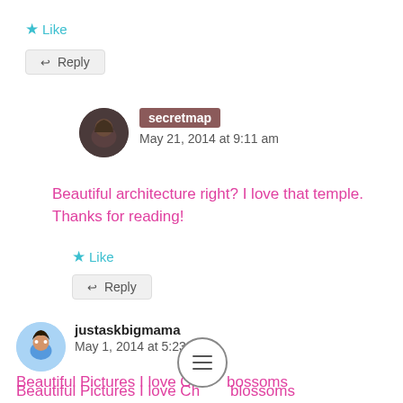★ Like
↩ Reply
secretmap
May 21, 2014 at 9:11 am
Beautiful architecture right? I love that temple. Thanks for reading!
★ Like
↩ Reply
justaskbigmama
May 1, 2014 at 5:23 pm
Beautiful Pictures I love Cherry Blossoms